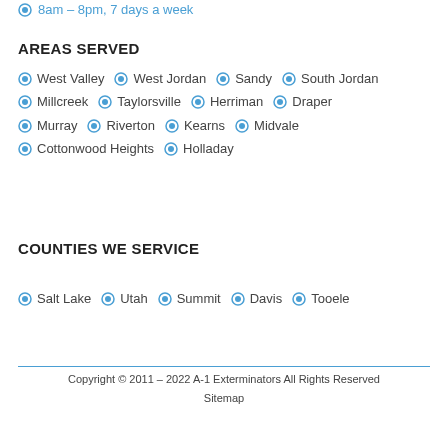8am – 8pm, 7 days a week
AREAS SERVED
West Valley · West Jordan · Sandy · South Jordan · Millcreek · Taylorsville · Herriman · Draper · Murray · Riverton · Kearns · Midvale · Cottonwood Heights · Holladay
COUNTIES WE SERVICE
Salt Lake · Utah · Summit · Davis · Tooele
Copyright © 2011 – 2022 A-1 Exterminators All Rights Reserved
Sitemap